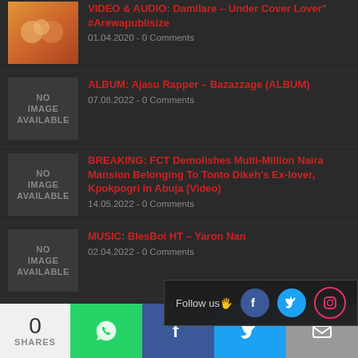VIDEO & AUDIO: Damilare – Under Cover Lover #Arewapublisize
01.04.2020 - 0 Comments
ALBUM: Ajasu Rapper – Bazazzage (ALBUM)
07.08.2022 - 0 Comments
BREAKING: FCT Demolishes Multi-Million Naira Mansion Belonging To Tonto Dikeh's Ex-lover, Kpokpogri In Abuja (Video)
14.05.2022 - 0 Comments
MUSIC: BlesBoi HT – Yaron Nan
02.04.2022 - 0 Comments
Download: GFresh – New
29.09.2019 - Comments Disabled
Follow us
0 SHARES | WhatsApp | Facebook | Twitter | Email